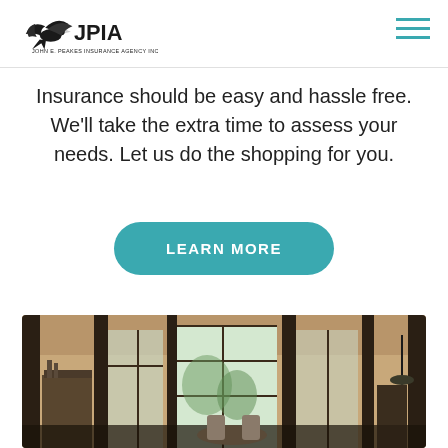JPIA - John E. Peakes Insurance Agency Inc.
Insurance should be easy and hassle free. We'll take the extra time to assess your needs. Let us do the shopping for you.
LEARN MORE
[Figure (photo): Interior of a modern upscale restaurant with large floor-to-ceiling windows, dark wood furniture, and chairs around tables. Natural light floods in through the glass panels showing greenery outside.]